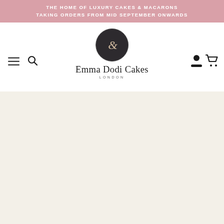THE HOME OF LUXURY CAKES & MACARONS
TAKING ORDERS FROM MID SEPTEMBER ONWARDS
[Figure (logo): Emma Dodi Cakes London logo — dark circular badge with stylized ampersand/e monogram, brand name and location text below]
[Figure (photo): Large off-white/cream hero image area, mostly blank/loading]